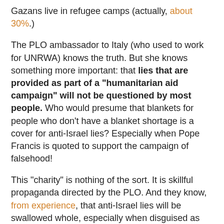Gazans live in refugee camps (actually, about 30%.)
The PLO ambassador to Italy (who used to work for UNRWA) knows the truth. But she knows something more important: that lies that are provided as part of a "humanitarian aid campaign" will not be questioned by most people. Who would presume that blankets for people who don't have a blanket shortage is a cover for anti-Israel lies? Especially when Pope Francis is quoted to support the campaign of falsehood!
This "charity" is nothing of the sort. It is skillful propaganda directed by the PLO. And they know, from experience, that anti-Israel lies will be swallowed whole, especially when disguised as "humanitarian aid." (I fully expect that not a single blanket will be sent to Gaza from this campaign - no one is asking for them. Israel routinely sends truckloads of blankets, sheets and mattresses to Gaza.)
I found a photo of Mai al-Kaila from when she was "ambassador" to Chile. Note the map behind her that erases Israel - a map that features the Fatah logo: